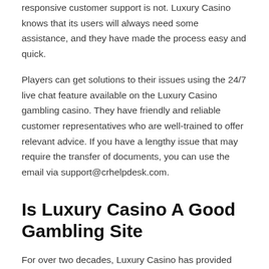responsive customer support is not. Luxury Casino knows that its users will always need some assistance, and they have made the process easy and quick.
Players can get solutions to their issues using the 24/7 live chat feature available on the Luxury Casino gambling casino. They have friendly and reliable customer representatives who are well-trained to offer relevant advice. If you have a lengthy issue that may require the transfer of documents, you can use the email via support@crhelpdesk.com.
Is Luxury Casino A Good Gambling Site
For over two decades, Luxury Casino has provided